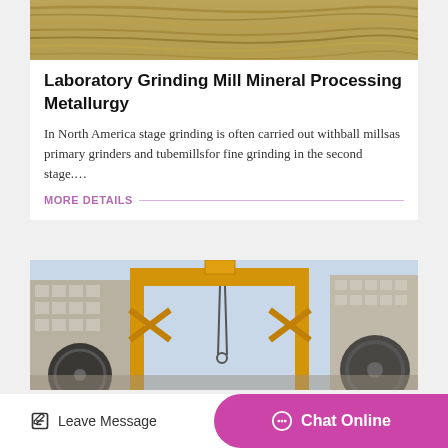[Figure (photo): Close-up of wood grain texture in golden/brown tones]
Laboratory Grinding Mill Mineral Processing Metallurgy
In North America stage grinding is often carried out withball millsas primary grinders and tubemillsfor fine grinding in the second stage….
MORE DETAILS ——
[Figure (photo): Industrial factory exterior with large yellow gantry crane structure and industrial equipment in an outdoor setting between factory buildings]
Leave Message   Chat Online